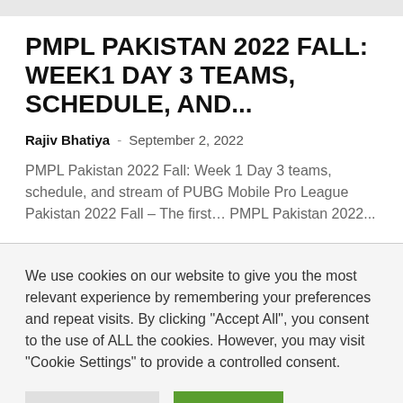PMPL PAKISTAN 2022 FALL: WEEK1 DAY 3 TEAMS, SCHEDULE, AND...
Rajiv Bhatiya  -  September 2, 2022
PMPL Pakistan 2022 Fall: Week 1 Day 3 teams, schedule, and stream of PUBG Mobile Pro League Pakistan 2022 Fall – The first… PMPL Pakistan 2022...
We use cookies on our website to give you the most relevant experience by remembering your preferences and repeat visits. By clicking "Accept All", you consent to the use of ALL the cookies. However, you may visit "Cookie Settings" to provide a controlled consent.